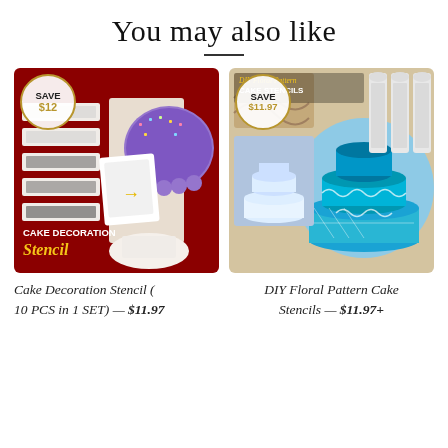You may also like
[Figure (photo): Cake Decoration Stencil product image showing purple cake and stencil sheets on red background with 'CAKE DECORATION Stencil' text. Save $12 badge in top-left corner.]
[Figure (photo): DIY Floral Pattern Cake Stencils product image showing blue decorated tiered cake with lace pattern stencils. Save $11.97 badge in top-left corner.]
Cake Decoration Stencil (10 PCS in 1 SET) — $11.97
DIY Floral Pattern Cake Stencils — $11.97+